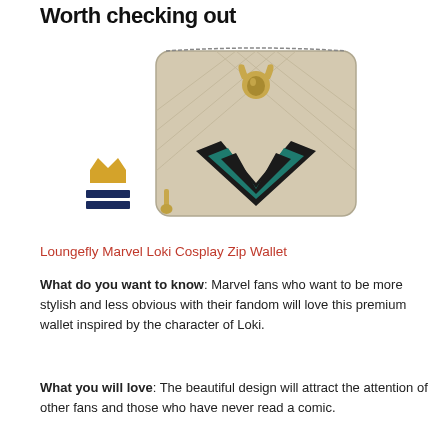Worth checking out
[Figure (photo): Loungefly Marvel Loki Cosplay Zip Wallet product photo — a beige/tan quilted zip-around wallet with Loki helmet gold emblem on top and black and teal chevron design on front]
Loungefly Marvel Loki Cosplay Zip Wallet
What do you want to know: Marvel fans who want to be more stylish and less obvious with their fandom will love this premium wallet inspired by the character of Loki.
What you will love: The beautiful design will attract the attention of other fans and those who have never read a comic.